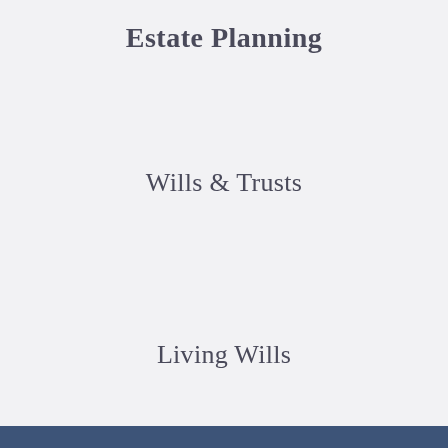Estate Planning
Wills & Trusts
Living Wills